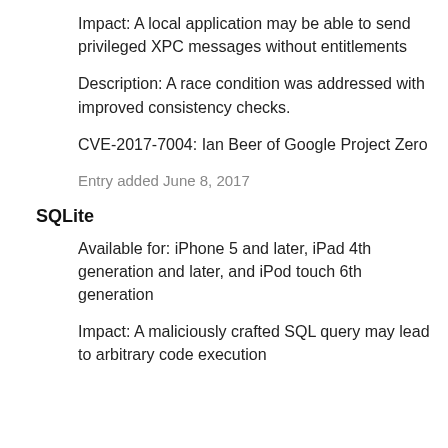Impact: A local application may be able to send privileged XPC messages without entitlements
Description: A race condition was addressed with improved consistency checks.
CVE-2017-7004: Ian Beer of Google Project Zero
Entry added June 8, 2017
SQLite
Available for: iPhone 5 and later, iPad 4th generation and later, and iPod touch 6th generation
Impact: A maliciously crafted SQL query may lead to arbitrary code execution